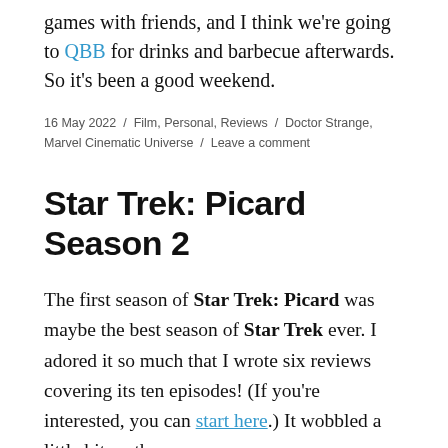games with friends, and I think we're going to QBB for drinks and barbecue afterwards. So it's been a good weekend.
16 May 2022 / Film, Personal, Reviews / Doctor Strange, Marvel Cinematic Universe / Leave a comment
Star Trek: Picard Season 2
The first season of Star Trek: Picard was maybe the best season of Star Trek ever. I adored it so much that I wrote six reviews covering its ten episodes! (If you're interested, you can start here.) It wobbled a little bit on the landing, but overall it was a great …